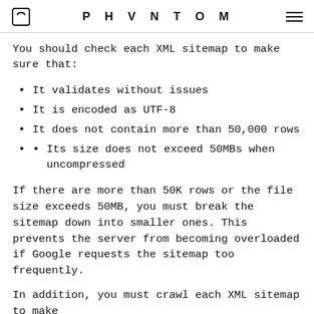PHVNTOM
You should check each XML sitemap to make sure that:
It validates without issues
It is encoded as UTF-8
It does not contain more than 50,000 rows
Its size does not exceed 50MBs when uncompressed
If there are more than 50K rows or the file size exceeds 50MB, you must break the sitemap down into smaller ones. This prevents the server from becoming overloaded if Google requests the sitemap too frequently.
In addition, you must crawl each XML sitemap to make